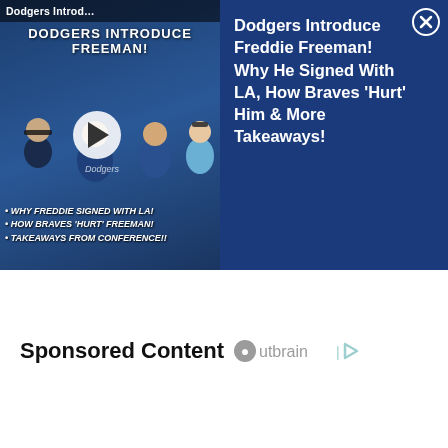[Figure (screenshot): Video thumbnail showing Dodgers Introduce Freddie Freeman press conference scene with people in Dodgers uniforms and text overlays about why Freddie signed with LA, how Braves hurt Freeman, takeaways from conference. Has a white play button overlay.]
Dodgers Introduce Freddie Freeman! Why He Signed With LA, How Braves 'Hurt' Him & More Takeaways!
Sponsored Content Outbrain